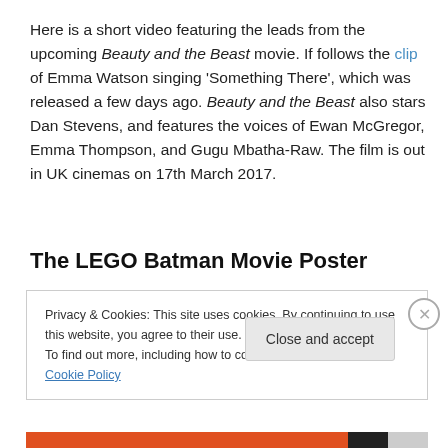Here is a short video featuring the leads from the upcoming Beauty and the Beast movie. If follows the clip of Emma Watson singing 'Something There', which was released a few days ago. Beauty and the Beast also stars Dan Stevens, and features the voices of Ewan McGregor, Emma Thompson, and Gugu Mbatha-Raw. The film is out in UK cinemas on 17th March 2017.
The LEGO Batman Movie Poster
Privacy & Cookies: This site uses cookies. By continuing to use this website, you agree to their use. To find out more, including how to control cookies, see here: Cookie Policy
Close and accept